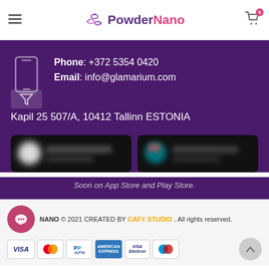PowderNano - header with hamburger menu, logo, and cart icon
Phone: +372 5354 0420
Email: info@glamarium.com
Kapil 25 507/A, 10412 Tallinn ESTONIA
[Figure (screenshot): Two blurred app store download button images (App Store and Play Store)]
Soon on App Store and Play Store.
NANO © 2021 CREATED BY CAFY STUDIO . All rights reserved. Payment icons: VISA, MasterCard, PayPal, American Express, VISA Electron, Maestro